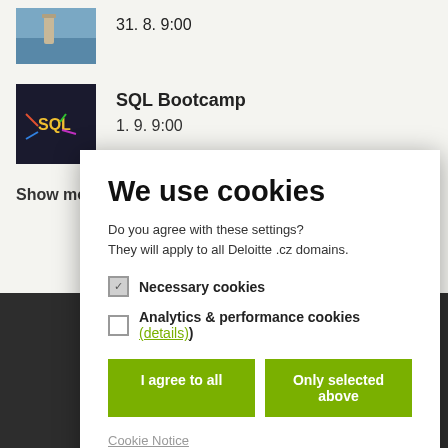31. 8. 9:00
[Figure (photo): Thumbnail image of a person walking, colorful]
SQL Bootcamp
1. 9. 9:00
[Figure (photo): SQL Bootcamp thumbnail with colorful SQL text and arrows]
Show mo...
We use cookies
Do you agree with these settings?
They will apply to all Deloitte .cz domains.
Necessary cookies
Analytics & performance cookies (details)
I agree to all
Only selected above
Cookie Notice